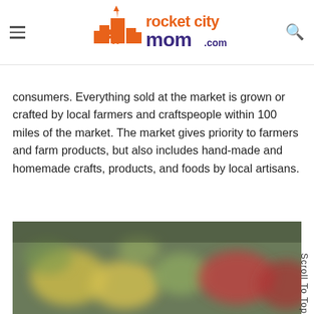rocket city mom .com
consumers. Everything sold at the market is grown or crafted by local farmers and craftspeople within 100 miles of the market. The market gives priority to farmers and farm products, but also includes hand-made and homemade crafts, products, and foods by local artisans.
[Figure (photo): Blurred photo of colorful fruits and vegetables at a farmers market, showing yellows, greens, and reds.]